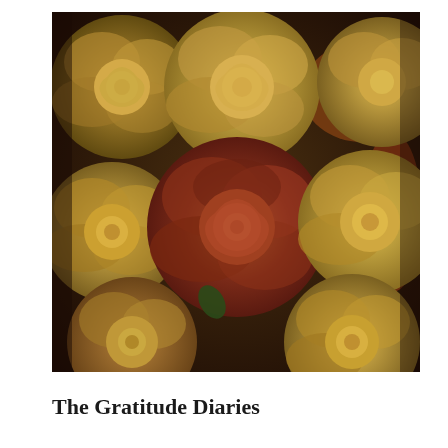[Figure (photo): Close-up photograph of multiple roses packed together. Most roses are pale yellow-green/cream colored, with one prominent dark red/rust-colored rose in the center foreground. The roses fill the entire frame.]
The Gratitude Diaries